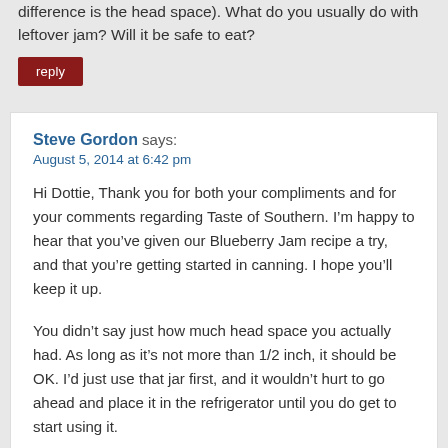difference is the head space). What do you usually do with leftover jam? Will it be safe to eat?
reply
Steve Gordon says: August 5, 2014 at 6:42 pm
Hi Dottie, Thank you for both your compliments and for your comments regarding Taste of Southern. I’m happy to hear that you’ve given our Blueberry Jam recipe a try, and that you’re getting started in canning. I hope you’ll keep it up.
You didn’t say just how much head space you actually had. As long as it’s not more than 1/2 inch, it should be OK. I’d just use that jar first, and it wouldn’t hurt to go ahead and place it in the refrigerator until you do get to start using it.
Most of the time, you will have some leftover product from your canning adventures. That just usually goes into a container with a lid and into the refrigerator to use first. It will still last a month or more, so use that up first and save the properly sealed jars for later.
I hope this helps. Thank you for your question and your